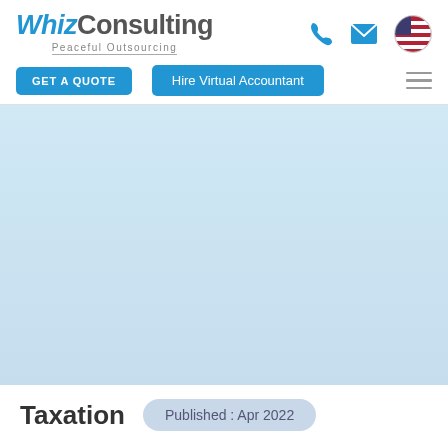[Figure (logo): WhizConsulting logo with 'Peaceful Outsourcing' tagline, phone icon, mail icon, and US flag circle icon]
[Figure (screenshot): Navigation bar with GET A QUOTE and Hire Virtual Accountant blue buttons, plus hamburger menu icon]
[Figure (photo): Light blue hero section background area]
Taxation
Published : Apr 2022